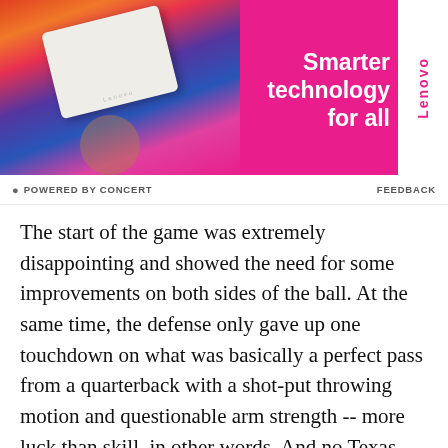[Figure (photo): Lenovo advertisement banner. Pink/magenta background with a person in colorful outfit holding a white Lenovo laptop. White text reads 'Smarter technology for all'. Lenovo logo in white box on right side.]
POWERED BY CONCERT   FEEDBACK
The start of the game was extremely disappointing and showed the need for some improvements on both sides of the ball. At the same time, the defense only gave up one touchdown on what was basically a perfect pass from a quarterback with a shot-put throwing motion and questionable arm strength -- more luck than skill, in other words. And no Texas offense had ever put up that many yards in a game. New Mexico State is bad, but the upside for this group offensively is obviously pretty extraordinary from a raw